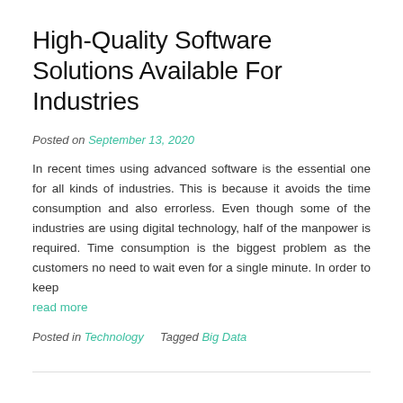High-Quality Software Solutions Available For Industries
Posted on September 13, 2020
In recent times using advanced software is the essential one for all kinds of industries. This is because it avoids the time consumption and also errorless. Even though some of the industries are using digital technology, half of the manpower is required. Time consumption is the biggest problem as the customers no need to wait even for a single minute. In order to keep
read more
Posted in Technology    Tagged Big Data